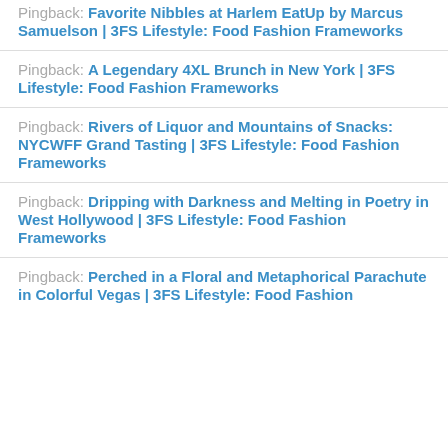Pingback: Favorite Nibbles at Harlem EatUp by Marcus Samuelson | 3FS Lifestyle: Food Fashion Frameworks
Pingback: A Legendary 4XL Brunch in New York | 3FS Lifestyle: Food Fashion Frameworks
Pingback: Rivers of Liquor and Mountains of Snacks: NYCWFF Grand Tasting | 3FS Lifestyle: Food Fashion Frameworks
Pingback: Dripping with Darkness and Melting in Poetry in West Hollywood | 3FS Lifestyle: Food Fashion Frameworks
Pingback: Perched in a Floral and Metaphorical Parachute in Colorful Vegas | 3FS Lifestyle: Food Fashion